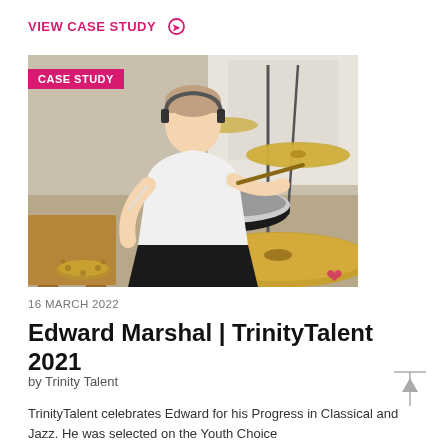VIEW CASE STUDY →
[Figure (photo): Young male drummer playing a drum kit with cymbals, wearing white shirt and black trousers, with a 'CASE STUDY' badge overlay in pink]
16 MARCH 2022
Edward Marshal | TrinityTalent 2021
by Trinity Talent
TrinityTalent celebrates Edward for his Progress in Classical and Jazz. He was selected on the Youth Choice...